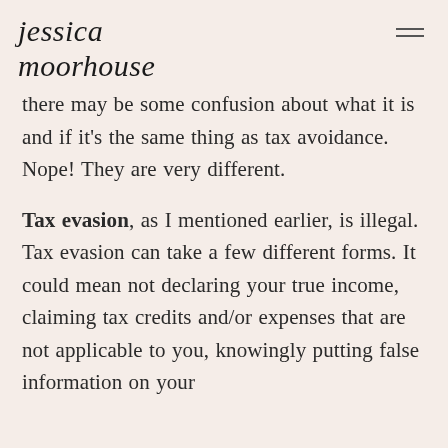jessica moorhouse
there may be some confusion about what it is and if it's the same thing as tax avoidance. Nope! They are very different.
Tax evasion, as I mentioned earlier, is illegal. Tax evasion can take a few different forms. It could mean not declaring your true income, claiming tax credits and/or expenses that are not applicable to you, knowingly putting false information on your